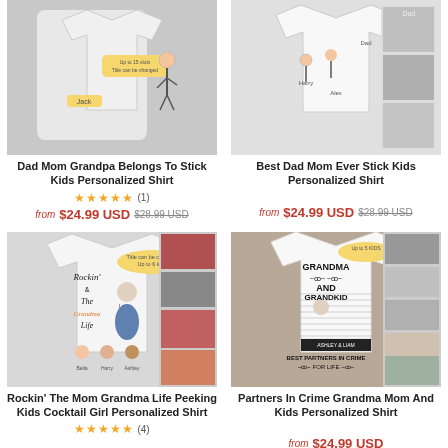[Figure (photo): Product image of Dad Mom Grandpa Belongs To Stick Kids Personalized Shirt showing a light grey shirt with stick figure children]
Dad Mom Grandpa Belongs To Stick Kids Personalized Shirt
★★★★★ (1)
from $24.99 USD $28.99 USD
[Figure (photo): Product image of Best Dad Mom Ever Stick Kids Personalized Shirt showing a white shirt with stick figure family]
Best Dad Mom Ever Stick Kids Personalized Shirt
from $24.99 USD $28.99 USD
[Figure (photo): Product image of Rockin The Mom Grandma Life Peeking Kids Cocktail Girl Personalized Shirt showing white shirt with cartoon grandma and kids]
Rockin' The Mom Grandma Life Peeking Kids Cocktail Girl Personalized Shirt
★★★★★ (4)
[Figure (photo): Product image of Partners In Crime Grandma Mom And Kids Personalized Shirt showing white shirt with mugshot style grandma design]
Partners In Crime Grandma Mom And Kids Personalized Shirt
from $24.99 USD